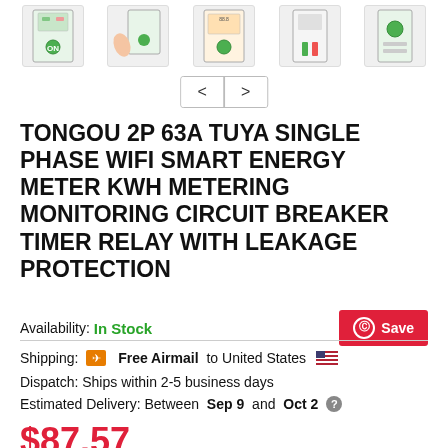[Figure (photo): Five thumbnail images of a smart energy meter/circuit breaker device shown from different angles, with a hand holding one unit]
[Figure (other): Navigation buttons with left < and right > arrows in a bordered box]
TONGOU 2P 63A TUYA SINGLE PHASE WIFI SMART ENERGY METER KWH METERING MONITORING CIRCUIT BREAKER TIMER RELAY WITH LEAKAGE PROTECTION
Availability: In Stock
Shipping: ✈ Free Airmail to United States 🇺🇸
Dispatch: Ships within 2-5 business days
Estimated Delivery: Between Sep 9 and Oct 2
$87.57